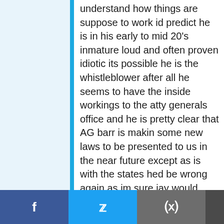understand how things are suppose to work id predict he is in his early to mid 20's inmature loud and often proven idiotic its possible he is the whistleblower after all he seems to have the inside workings to the atty generals office and he is pretty clear that AG barr is makin some new laws to be presented to us in the near future except as is with the states hed be wrong again as im sure jay would know that attorney generals dont write laws they oversee and enforce laws that are on the books. Sadly for us constitutional americans the younger generation is buying in to the far left and as or policies they call them more gullible than